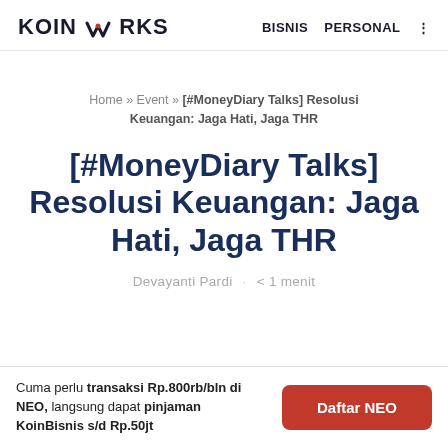KOINWORKS   BISNIS   PERSONAL
Home » Event » [#MoneyDiary Talks] Resolusi Keuangan: Jaga Hati, Jaga THR
[#MoneyDiary Talks] Resolusi Keuangan: Jaga Hati, Jaga THR
Devayanti Pardi · < 1 menit
Cuma perlu transaksi Rp.800rb/bln di NEO, langsung dapat pinjaman KoinBisnis s/d Rp.50jt